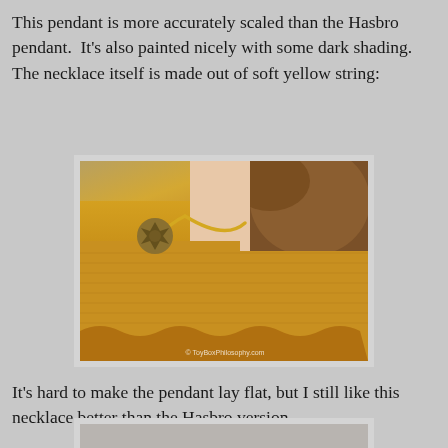This pendant is more accurately scaled than the Hasbro pendant.  It's also painted nicely with some dark shading.  The necklace itself is made out of soft yellow string:
[Figure (photo): Close-up photo of a doll wearing a yellow knit dress with a gold decorative pendant on a yellow braided string necklace. Watermark reads ToyBoxPhilosophy.com.]
It's hard to make the pendant lay flat, but I still like this necklace better than the Hasbro version.
[Figure (photo): Partial photo of another doll or pendant, cropped at bottom of page.]